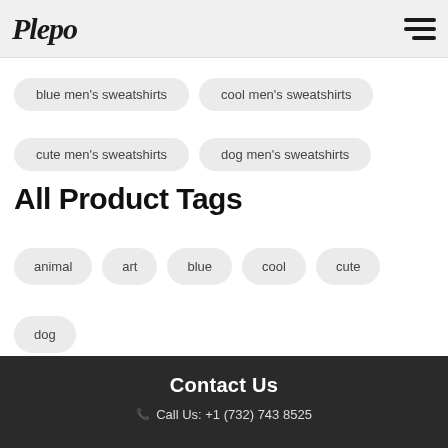Plepo
blue men's sweatshirts
cool men's sweatshirts
cute men's sweatshirts
dog men's sweatshirts
All Product Tags
animal
art
blue
cool
cute
dog
Contact Us
Call Us: +1 (732) 743 8525